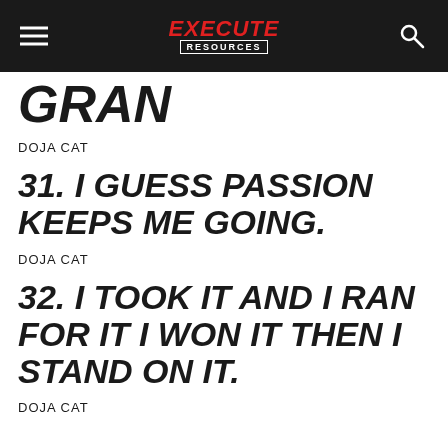EXECUTE RESOURCES
GRAN
DOJA CAT
31. I GUESS PASSION KEEPS ME GOING.
DOJA CAT
32. I TOOK IT AND I RAN FOR IT I WON IT THEN I STAND ON IT.
DOJA CAT